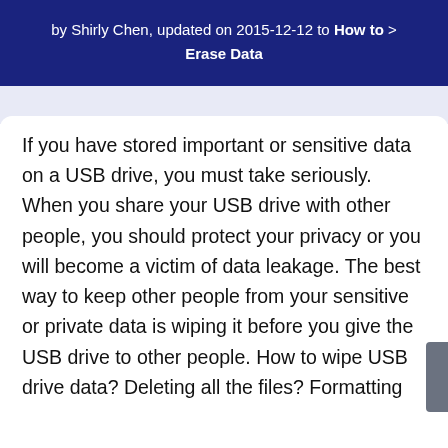by Shirly Chen, updated on 2015-12-12 to How to > Erase Data
If you have stored important or sensitive data on a USB drive, you must take seriously. When you share your USB drive with other people, you should protect your privacy or you will become a victim of data leakage. The best way to keep other people from your sensitive or private data is wiping it before you give the USB drive to other people. How to wipe USB drive data? Deleting all the files? Formatting